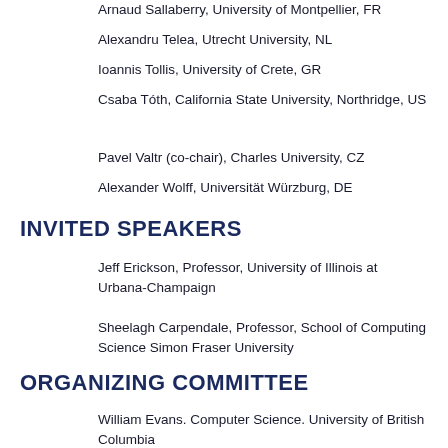Arnaud Sallaberry, University of Montpellier, FR
Alexandru Telea, Utrecht University, NL
Ioannis Tollis, University of Crete, GR
Csaba Tóth, California State University, Northridge, US
Pavel Valtr (co-chair), Charles University, CZ
Alexander Wolff, Universität Würzburg, DE
INVITED SPEAKERS
Jeff Erickson, Professor, University of Illinois at Urbana-Champaign
Sheelagh Carpendale, Professor, School of Computing Science Simon Fraser University
ORGANIZING COMMITTEE
William Evans. Computer Science. University of British Columbia